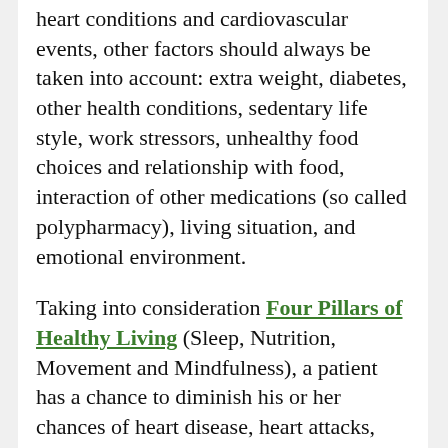heart conditions and cardiovascular events, other factors should always be taken into account: extra weight, diabetes, other health conditions, sedentary life style, work stressors, unhealthy food choices and relationship with food, interaction of other medications (so called polypharmacy), living situation, and emotional environment.
Taking into consideration Four Pillars of Healthy Living (Sleep, Nutrition, Movement and Mindfulness), a patient has a chance to diminish his or her chances of heart disease, heart attacks, heart failures and strokes.
There are a number of natural substances (herbs, nutritional supplements, diet,